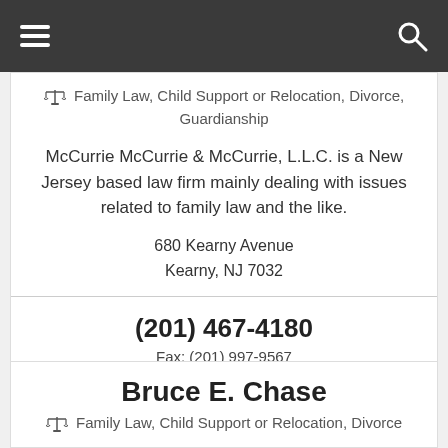Navigation bar with menu and search icons
⚖ Family Law, Child Support or Relocation, Divorce, Guardianship
McCurrie McCurrie & McCurrie, L.L.C. is a New Jersey based law firm mainly dealing with issues related to family law and the like.
680 Kearny Avenue
Kearny, NJ 7032
(201) 467-4180
Fax: (201) 997-9567
View Profile
Bruce E. Chase
⚖ Family Law, Child Support or Relocation, Divorce